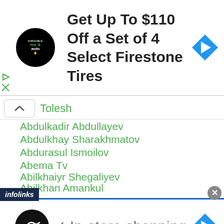[Figure (screenshot): Top advertisement banner: Tire & Auto logo, text 'Get Up To $110 Off a Set of 4 Select Firestone Tires', blue diamond arrow icon on right]
Tolesh
Abdulkadir Abdullayev
Abdulkhay Sharakhmatov
Abdurasul Ismoilov
Abema Tv
Abilkhaiyr Shegaliyev
Abilkhan Amankul
Ablaikhan Khussainov
Ablaikhan Zhussupov
Abner Mares
ABC CBN
infolinks
[Figure (screenshot): Bottom advertisement banner: black circular logo with infinity symbol, checkmark, text 'In-store shopping', blue diamond arrow icon on right]